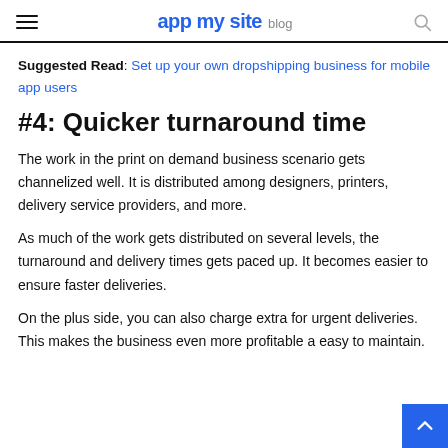appmysite blog
Suggested Read: Set up your own dropshipping business for mobile app users
#4: Quicker turnaround time
The work in the print on demand business scenario gets channelized well. It is distributed among designers, printers, delivery service providers, and more.
As much of the work gets distributed on several levels, the turnaround and delivery times gets paced up. It becomes easier to ensure faster deliveries.
On the plus side, you can also charge extra for urgent deliveries. This makes the business even more profitable and easy to maintain.